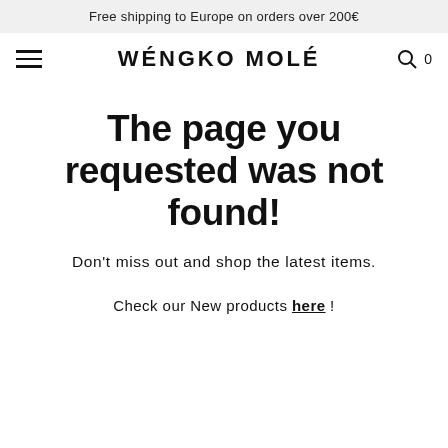Free shipping to Europe on orders over 200€
WÉNGKO MOLÉ
The page you requested was not found!
Don't miss out and shop the latest items.
Check our New products here !